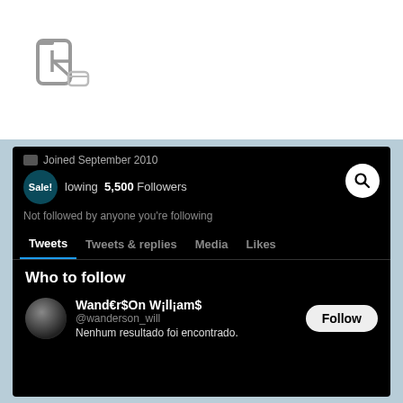[Figure (logo): Stylized letter 'R' logo in gray outline on white background]
[Figure (screenshot): Twitter/X profile page screenshot in dark mode showing: Joined September 2010, 5,500 Followers, 'Not followed by anyone you're following', tabs for Tweets / Tweets & replies / Media / Likes, 'Who to follow' section with user Wand€r$On W¡ll¡am$ (@wanderson_will) and text 'Nenhum resultado foi encontrado.']